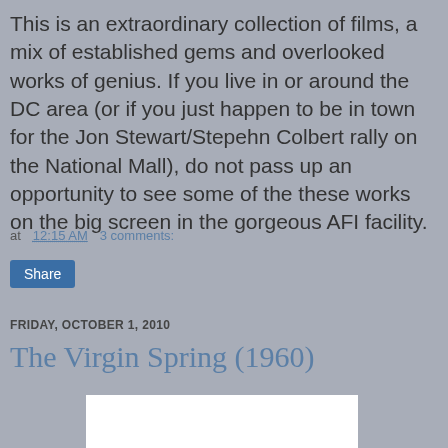This is an extraordinary collection of films, a mix of established gems and overlooked works of genius. If you live in or around the DC area (or if you just happen to be in town for the Jon Stewart/Stepehn Colbert rally on the National Mall), do not pass up an opportunity to see some of the these works on the big screen in the gorgeous AFI facility.
at 12:15 AM   3 comments:
Share
FRIDAY, OCTOBER 1, 2010
The Virgin Spring (1960)
[Figure (photo): White rectangular image area, partially visible at bottom of page]